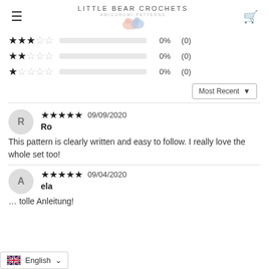LITTLE BEAR CROCHETS AMIGURUMI PATTERNS
| Stars | Bar | Percent | Count |
| --- | --- | --- | --- |
| 3 stars |  | 0% | (0) |
| 2 stars |  | 0% | (0) |
| 1 star |  | 0% | (0) |
Most Recent
R
09/09/2020
Ro
This pattern is clearly written and easy to follow. I really love the whole set too!
A
09/04/2020
[name partially visible]
[text partially visible: tolle Anleitung!]
English